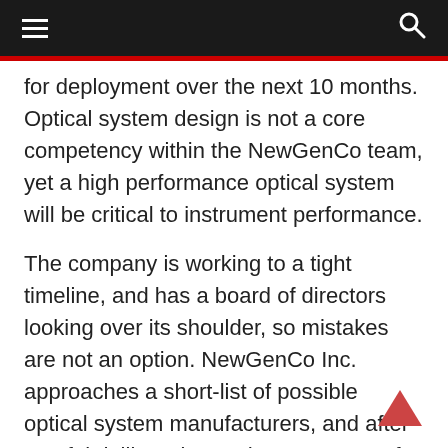≡  🔍
for deployment over the next 10 months. Optical system design is not a core competency within the NewGenCo team, yet a high performance optical system will be critical to instrument performance.
The company is working to a tight timeline, and has a board of directors looking over its shoulder, so mistakes are not an option. NewGenCo Inc. approaches a short-list of possible optical system manufacturers, and after careful deliberation and assessment of the alternatives chooses ZYGO.